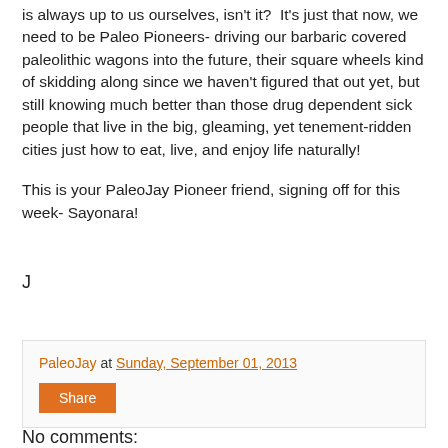is always up to us ourselves, isn't it?  It's just that now, we need to be Paleo Pioneers- driving our barbaric covered paleolithic wagons into the future, their square wheels kind of skidding along since we haven't figured that out yet, but still knowing much better than those drug dependent sick people that live in the big, gleaming, yet tenement-ridden cities just how to eat, live, and enjoy life naturally!
This is your PaleoJay Pioneer friend, signing off for this week- Sayonara!
J
PaleoJay at Sunday, September 01, 2013
Share
No comments: